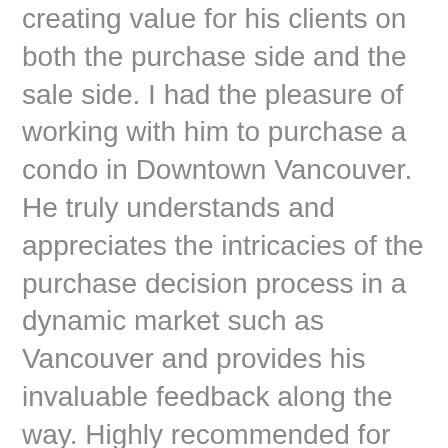creating value for his clients on both the purchase side and the sale side. I had the pleasure of working with him to purchase a condo in Downtown Vancouver. He truly understands and appreciates the intricacies of the purchase decision process in a dynamic market such as Vancouver and provides his invaluable feedback along the way. Highly recommended for all your real estate needs. He will exceed your expectations". Ali M.
"I worked with Iman Moghadam in early 2019 to sell my condominium in downtown Vancouver, and I could not have been more pleased! After several years of entertaining a “seller’s market”, real estate market activities in the area